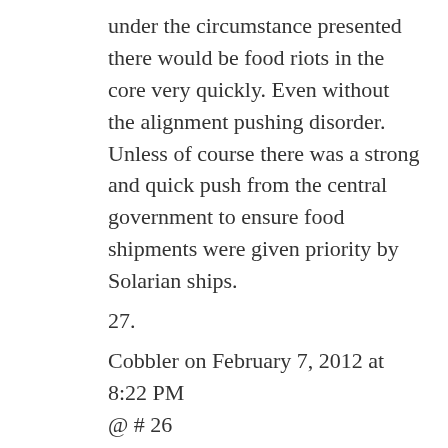under the circumstance presented there would be food riots in the core very quickly. Even without the alignment pushing disorder. Unless of course there was a strong and quick push from the central government to ensure food shipments were given priority by Solarian ships.
27.
Cobbler on February 7, 2012 at 8:22 PM
@ # 26
“On the subject of food, we know that the Montanan system has a sizable export of beef, this means somewhere they are importing beef. If (the cost of verge labor+the price of verge land+the price of transportation) is cheaper than (the price of core labor+ the price of core land) then food will be grown in the